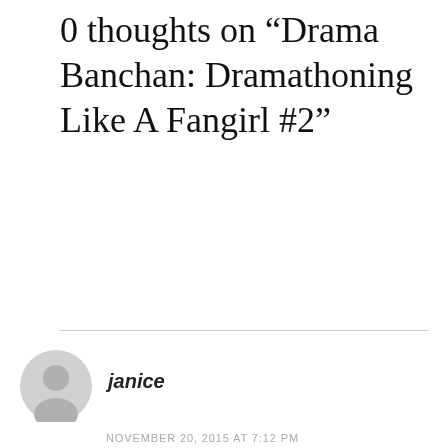0 thoughts on "Drama Banchan: Dramathoning Like A Fangirl #2"
janice
NOVEMBER 20, 2015 AT 7:12 PM
Privacy & Cookies: This site uses cookies. By continuing to use this website, you agree to their use. To find out more, including how to control cookies, see here: Cookie Policy
Close and accept